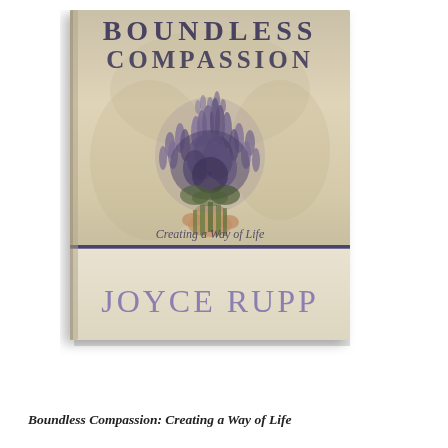[Figure (illustration): Book cover of 'Boundless Compassion: Creating a Way of Life' by Joyce Rupp. Shows a person holding a large bouquet of lavender flowers. Title text 'BOUNDLESS COMPASSION' appears at top in dark navy/slate letters, subtitle 'Creating a Way of Life' in italic script in the lower portion of the photo area, and author name 'JOYCE RUPP' in large lavender letters on a cream band at the bottom of the cover.]
Boundless Compassion: Creating a Way of Life